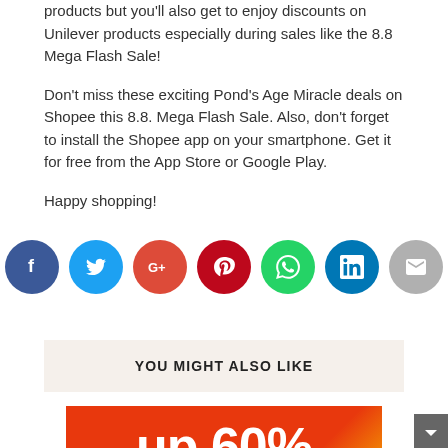products but you'll also get to enjoy discounts on Unilever products especially during sales like the 8.8 Mega Flash Sale!
Don't miss these exciting Pond's Age Miracle deals on Shopee this 8.8. Mega Flash Sale. Also, don't forget to install the Shopee app on your smartphone. Get it for free from the App Store or Google Play.
Happy shopping!
[Figure (infographic): Row of 7 social media share buttons as colored circles: Facebook (dark blue, f), Twitter (light blue, bird), Google+ (red-orange, G+), Pinterest (dark red, p), WhatsApp (green, phone), LinkedIn (dark blue, in), Email (gray, envelope)]
YOU MIGHT ALSO LIKE
[Figure (photo): Promotional banner with orange/red background showing large white bold text reading 'up 60%' partially visible]